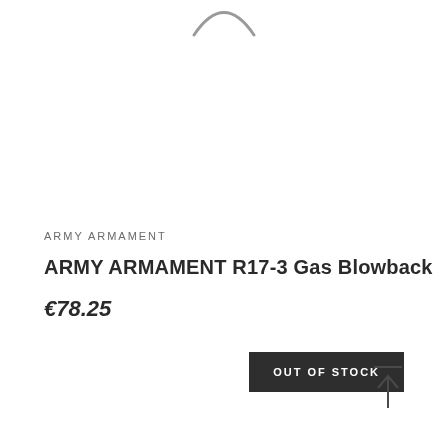[Figure (illustration): Partial arc/spinner graphic at the top center of the page, showing a curved line resembling a loading spinner or partial circle in gray.]
ARMY ARMAMENT
ARMY ARMAMENT R17-3 Gas Blowback
€78.25
OUT OF STOCK